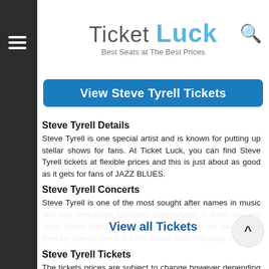Ticket Luck — Best Seats at The Best Prices
View Steve Tyrell Tickets
Steve Tyrell Details
Steve Tyrell is one special artist and is known for putting up stellar shows for fans. At Ticket Luck, you can find Steve Tyrell tickets at flexible prices and this is just about as good as it gets for fans of JAZZ BLUES.
Steve Tyrell Concerts
Steve Tyrell is one of the most sought after names in music and has performed Concerts everywhere. If there are any more shows scheduled by the Steve Tyrell in the near future, then be sure to check out the details from this page.
Steve Tyrell Tickets
The tickets prices are subject to change however depending on where the Concerts are being held, the venue and even the city.
Steve Tyrell Tour
If your favorite artist is on tour, then you can get Concerts tickets from right here. Get your Steve Tyrell tickets without any hassle at all
View all Tickets